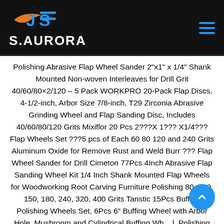[Figure (logo): JS S.AURORA brand logo with orange and blue swoosh graphic on black header background, with blue hamburger menu icon on the right]
Polishing Abrasive Flap Wheel Sander 2"x1" x 1/4" Shank Mounted Non-woven Interleaves for Drill Grit 40/60/80×2/120 – 5 Pack WORKPRO 20-Pack Flap Discs, 4-1/2-inch, Arbor Size 7/8-inch, T29 Zirconia Abrasive Grinding Wheel and Flap Sanding Disc, Includes 40/60/80/120 Grits Mixiflor 20 Pcs 2???X 1??? X1/4??? Flap Wheels Set ???5 pcs of Each 60 80 120 and 240 Grits Aluminum Oxide for Remove Rust and Weld Burr ??? Flap Wheel Sander for Drill Cimeton 77Pcs 4Inch Abrasive Flap Sanding Wheel Kit 1/4 Inch Shank Mounted Flap Wheels for Woodworking Root Carving Furniture Polishing 80, 120, 150, 180, 240, 320, 400 Grits Tanstic 15Pcs Buffing Polishing Wheels Set, 6Pcs 6" Buffing Wheel with Arbor Hole, Mushroom and Cylindrical Buffing Wheel, Polishing Compound Buffing Rake Crimped Steel Brush